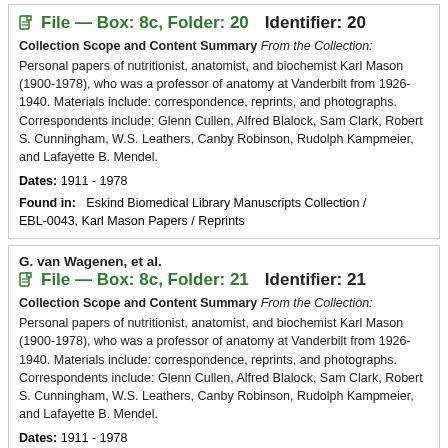File — Box: 8c, Folder: 20   Identifier: 20
Collection Scope and Content Summary From the Collection: Personal papers of nutritionist, anatomist, and biochemist Karl Mason (1900-1978), who was a professor of anatomy at Vanderbilt from 1926-1940. Materials include: correspondence, reprints, and photographs. Correspondents include: Glenn Cullen, Alfred Blalock, Sam Clark, Robert S. Cunningham, W.S. Leathers, Canby Robinson, Rudolph Kampmeier, and Lafayette B. Mendel.
Dates: 1911 - 1978
Found in:   Eskind Biomedical Library Manuscripts Collection / EBL-0043, Karl Mason Papers / Reprints
G. van Wagenen, et al.
File — Box: 8c, Folder: 21   Identifier: 21
Collection Scope and Content Summary From the Collection: Personal papers of nutritionist, anatomist, and biochemist Karl Mason (1900-1978), who was a professor of anatomy at Vanderbilt from 1926-1940. Materials include: correspondence, reprints, and photographs. Correspondents include: Glenn Cullen, Alfred Blalock, Sam Clark, Robert S. Cunningham, W.S. Leathers, Canby Robinson, Rudolph Kampmeier, and Lafayette B. Mendel.
Dates: 1911 - 1978